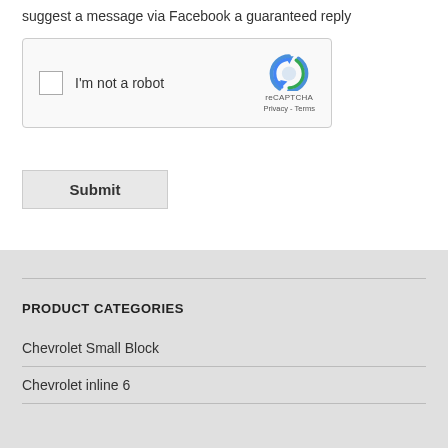suggest a message via Facebook a guaranteed reply
[Figure (other): reCAPTCHA widget with checkbox labeled 'I'm not a robot' and Google reCAPTCHA logo with Privacy and Terms links]
Submit
PRODUCT CATEGORIES
Chevrolet Small Block
Chevrolet inline 6